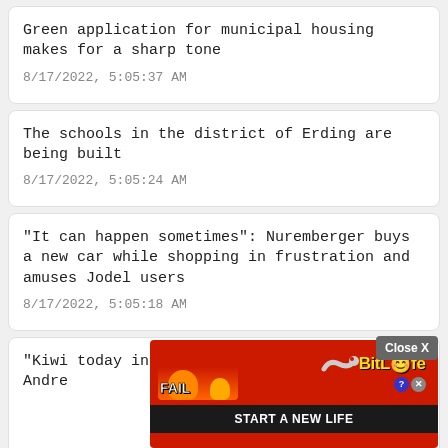Green application for municipal housing makes for a sharp tone
8/17/2022, 5:05:37 AM
The schools in the district of Erding are being built
8/17/2022, 5:05:24 AM
"It can happen sometimes": Nuremberger buys a new car while shopping in frustration and amuses Jodel users
8/17/2022, 5:05:18 AM
"Kiwi today in satin bed linen": tele...
Andre...
[Figure (screenshot): Advertisement banner: BitLife 'START A NEW LIFE' ad with red background, cartoon character, and Close X button overlay]